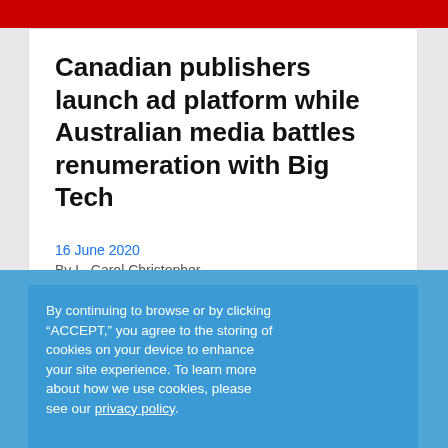[Figure (other): Red decorative banner at top of page with dot pattern]
Canadian publishers launch ad platform while Australian media battles renumeration with Big Tech
16 June 2020
By L. Carol Christopher
By continuing to browse or by clicking “ACCEPT,” you agree to the storing of cookies on your device to enhance your site experience. To learn more about how we use cookies, please see our privacy policy.
I ACCEPT